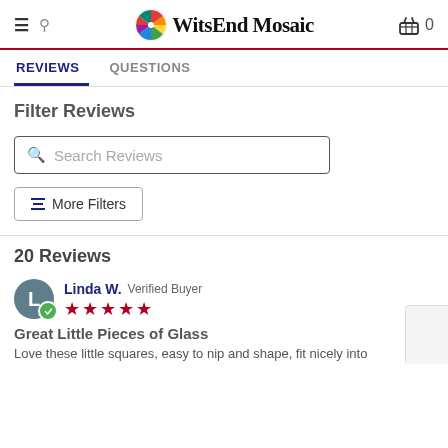WitsEnd Mosaic
REVIEWS   QUESTIONS
Filter Reviews
Search Reviews
More Filters
20 Reviews
Linda W. Verified Buyer
Great Little Pieces of Glass
Love these little squares, easy to nip and shape, fit nicely into